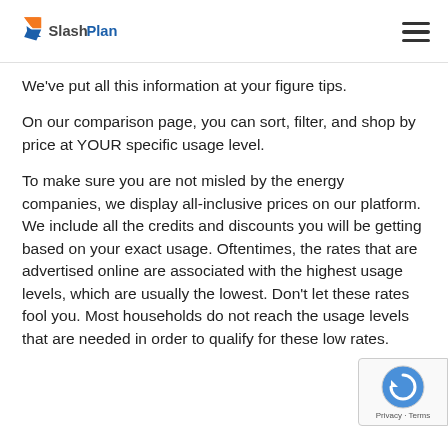SlashPlan
We've put all this information at your figure tips.
On our comparison page, you can sort, filter, and shop by price at YOUR specific usage level.
To make sure you are not misled by the energy companies, we display all-inclusive prices on our platform. We include all the credits and discounts you will be getting based on your exact usage. Oftentimes, the rates that are advertised online are associated with the highest usage levels, which are usually the lowest. Don't let these rates fool you. Most households do not reach the usage levels that are needed in order to qualify for these low rates.